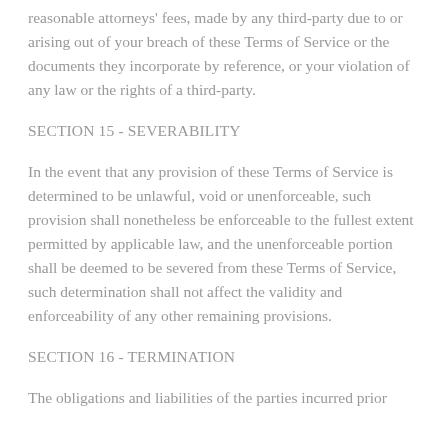reasonable attorneys' fees, made by any third-party due to or arising out of your breach of these Terms of Service or the documents they incorporate by reference, or your violation of any law or the rights of a third-party.
SECTION 15 - SEVERABILITY
In the event that any provision of these Terms of Service is determined to be unlawful, void or unenforceable, such provision shall nonetheless be enforceable to the fullest extent permitted by applicable law, and the unenforceable portion shall be deemed to be severed from these Terms of Service, such determination shall not affect the validity and enforceability of any other remaining provisions.
SECTION 16 - TERMINATION
The obligations and liabilities of the parties incurred prior